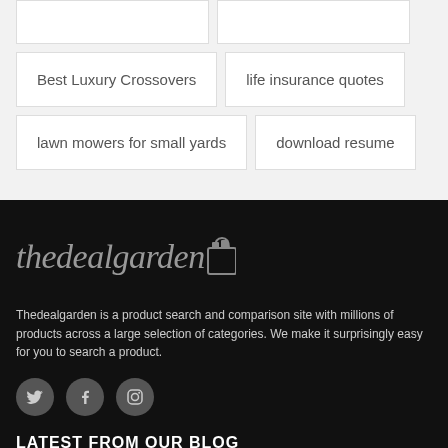Best Luxury Crossovers
life insurance quotes
lawn mowers for small yards
download resume
[Figure (logo): thedealgarden logo with stylized italic text and shopping bag icon]
Thedealgarden is a product search and comparison site with millions of products across a large selection of categories. We make it surprisingly easy for you to search a product.
[Figure (illustration): Social media icons: Twitter, Facebook, Instagram in dark gray circles]
LATEST FROM OUR BLOG